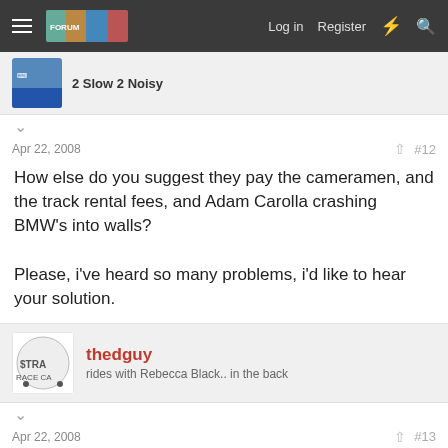Log in  Register
2 Slow 2 Noisy
Apr 22, 2008   #12
How else do you suggest they pay the cameramen, and the track rental fees, and Adam Carolla crashing BMW's into walls?

Please, i've heard so many problems, i'd like to hear your solution.
thedguy
rides with Rebecca Black.. in the back
Apr 22, 2008   #13
MattD1zzl3 said:
How else do you suggest they pay the cameramen, and the track rental fees, and Adam Carolla crashing BMW's into walls?